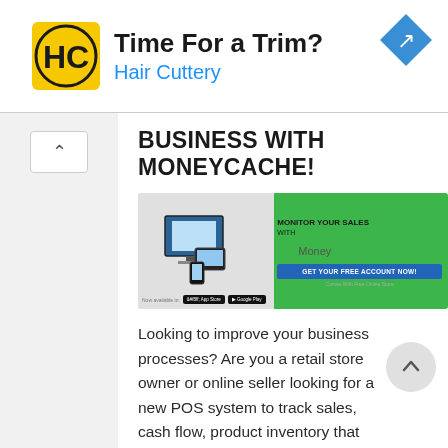[Figure (advertisement): Hair Cuttery advertisement banner with logo (HC in yellow circle), headline 'Time For a Trim?', subtitle 'Hair Cuttery' in blue, and a blue navigation arrow diamond icon on right. Small play and close controls on left.]
BUSINESS WITH MONEYCACHE!
[Figure (advertisement): MoneyCachebanner ad showing monitor/tablet/phone devices on left side with a green background, text 'MONITOR YOUR SALES WITH MoneyCacheon right, blue button 'GET YOUR FREE ACCOUNT NOW!', subtitle 'Comes With Free Online Store', and App Store / Google Play badges at bottom.]
Looking to improve your business processes? Are you a retail store owner or online seller looking for a new POS system to track sales, cash flow, product inventory that can help simplify bookkeeping? Moneycache